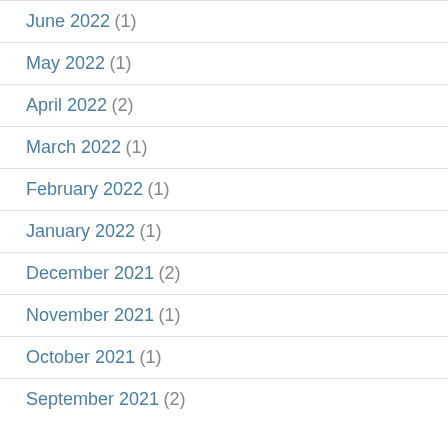June 2022 (1)
May 2022 (1)
April 2022 (2)
March 2022 (1)
February 2022 (1)
January 2022 (1)
December 2021 (2)
November 2021 (1)
October 2021 (1)
September 2021 (2)